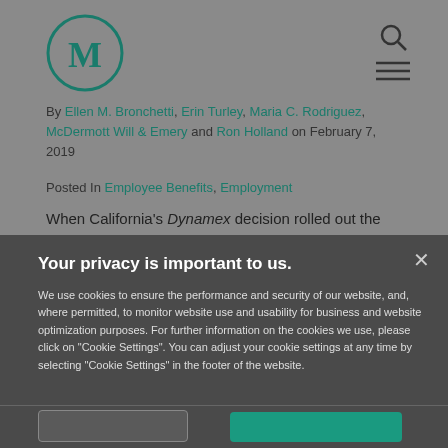[Figure (logo): Circular logo with letter M in dark teal, outlined circle]
By Ellen M. Bronchetti, Erin Turley, Maria C. Rodriguez, McDermott Will & Emery and Ron Holland on February 7, 2019
Posted In Employee Benefits, Employment
When California's Dynamex decision rolled out the
Your privacy is important to us.
We use cookies to ensure the performance and security of our website, and, where permitted, to monitor website use and usability for business and website optimization purposes. For further information on the cookies we use, please click on "Cookie Settings". You can adjust your cookie settings at any time by selecting "Cookie Settings" in the footer of the website.